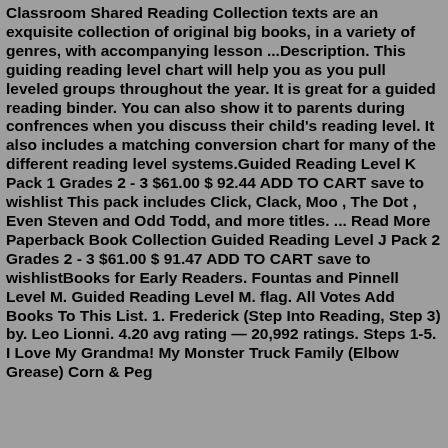Classroom Shared Reading Collection texts are an exquisite collection of original big books, in a variety of genres, with accompanying lesson ...Description. This guiding reading level chart will help you as you pull leveled groups throughout the year. It is great for a guided reading binder. You can also show it to parents during confrences when you discuss their child's reading level. It also includes a matching conversion chart for many of the different reading level systems.Guided Reading Level K Pack 1 Grades 2 - 3 $61.00 $ 92.44 ADD TO CART save to wishlist This pack includes Click, Clack, Moo , The Dot , Even Steven and Odd Todd, and more titles. ... Read More Paperback Book Collection Guided Reading Level J Pack 2 Grades 2 - 3 $61.00 $ 91.47 ADD TO CART save to wishlistBooks for Early Readers. Fountas and Pinnell Level M. Guided Reading Level M. flag. All Votes Add Books To This List. 1. Frederick (Step Into Reading, Step 3) by. Leo Lionni. 4.20 avg rating — 20,992 ratings. Steps 1-5. I Love My Grandma! My Monster Truck Family (Elbow Grease) Corn & Peg